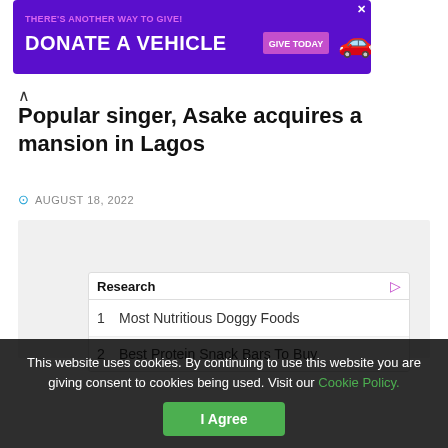[Figure (other): Purple advertisement banner: 'THERE'S ANOTHER WAY TO GIVE! DONATE A VEHICLE GIVE TODAY' with a car image]
Popular singer, Asake acquires a mansion in Lagos
AUGUST 18, 2022
[Figure (other): Gray placeholder content box]
[Figure (other): Research ad widget listing: 1 Most Nutritious Doggy Foods, 2 Best Protein Snack Bars To Buy]
This website uses cookies. By continuing to use this website you are giving consent to cookies being used. Visit our Cookie Policy.
I Agree